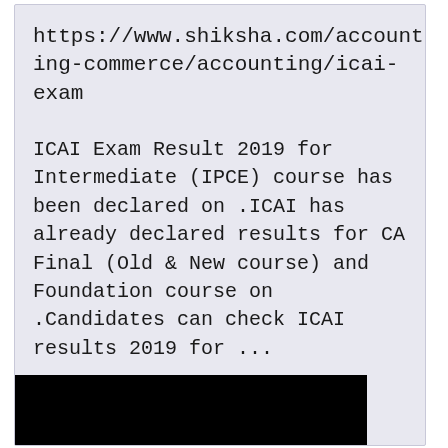https://www.shiksha.com/accounting-commerce/accounting/icai-exam
ICAI Exam Result 2019 for Intermediate (IPCE) course has been declared on .ICAI has already declared results for CA Final (Old & New course) and Foundation course on .Candidates can check ICAI results 2019 for ...
[Figure (photo): Dark image with a partially visible circular logo or icon at the bottom center on a black background]